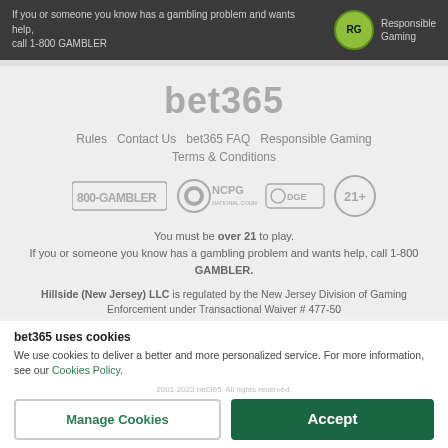If you or someone you know has a gambling problem and wants help, call 1-800 GAMBLER
bet365
Rules   Contact Us   bet365 FAQ   Responsible Gaming
Terms & Conditions
[Figure (logo): 800-GAMBLER, NCPG, DGE, and 21+ compliance logos in a row]
You must be over 21 to play. If you or someone you know has a gambling problem and wants help, call 1-800 GAMBLER.
Hillside (New Jersey) LLC is regulated by the New Jersey Division of Gaming Enforcement under Transactional Waiver # 477-50
bet365 uses cookies
We use cookies to deliver a better and more personalized service. For more information, see our Cookies Policy.
2001-2022 bet365. All rights reserved.